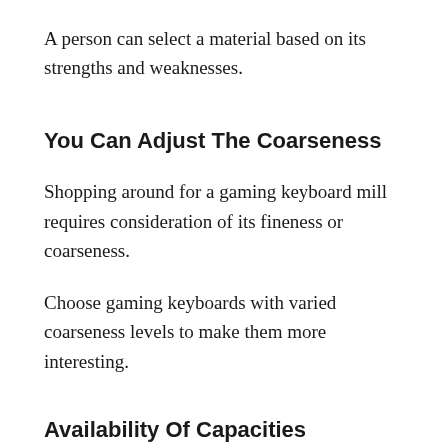A person can select a material based on its strengths and weaknesses.
You Can Adjust The Coarseness
Shopping around for a gaming keyboard mill requires consideration of its fineness or coarseness.
Choose gaming keyboards with varied coarseness levels to make them more interesting.
Availability Of Capacities
What is your preferred number of gaming keyboards at a time? In spite of being less crucial